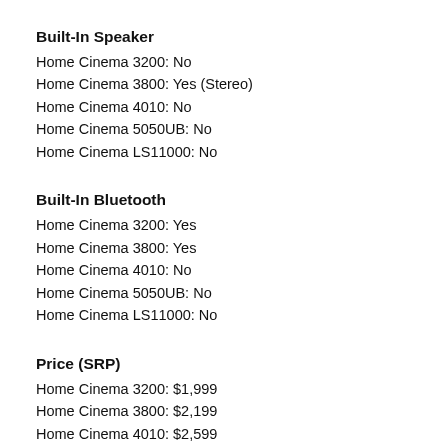Built-In Speaker
Home Cinema 3200: No
Home Cinema 3800: Yes (Stereo)
Home Cinema 4010: No
Home Cinema 5050UB: No
Home Cinema LS11000: No
Built-In Bluetooth
Home Cinema 3200: Yes
Home Cinema 3800: Yes
Home Cinema 4010: No
Home Cinema 5050UB: No
Home Cinema LS11000: No
Price (SRP)
Home Cinema 3200: $1,999
Home Cinema 3800: $2,199
Home Cinema 4010: $2,599
Home Cinema 5050UB: $4,499
Home Cinema LS11000: $5,199